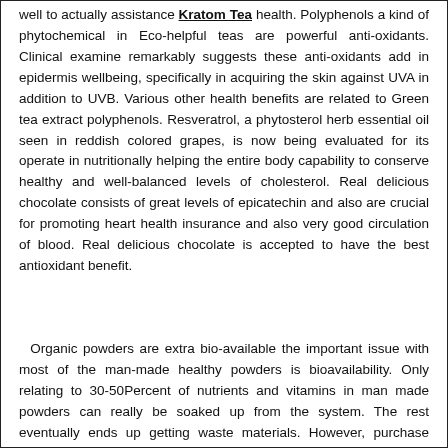well to actually assistance Kratom Tea health. Polyphenols a kind of phytochemical in Eco-helpful teas are powerful anti-oxidants. Clinical examine remarkably suggests these anti-oxidants add in epidermis wellbeing, specifically in acquiring the skin against UVA in addition to UVB. Various other health benefits are related to Green tea extract polyphenols. Resveratrol, a phytosterol herb essential oil seen in reddish colored grapes, is now being evaluated for its operate in nutritionally helping the entire body capability to conserve healthy and well-balanced levels of cholesterol. Real delicious chocolate consists of great levels of epicatechin and also are crucial for promoting heart health insurance and also very good circulation of blood. Real delicious chocolate is accepted to have the best antioxidant benefit.
Organic powders are extra bio-available the important issue with most of the man-made healthy powders is bioavailability. Only relating to 30-50Percent of nutrients and vitamins in man made powders can really be soaked up from the system. The rest eventually ends up getting waste materials. However, purchase kratom canada are a lot more